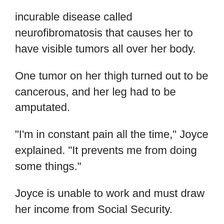incurable disease called neurofibromatosis that causes her to have visible tumors all over her body.
One tumor on her thigh turned out to be cancerous, and her leg had to be amputated.
"I'm in constant pain all the time," Joyce explained. "It prevents me from doing some things."
Joyce is unable to work and must draw her income from Social Security.
While she faced many battles, she remained positive. There was one thing she loved, however, that always seemed just out of reach: the Royals.